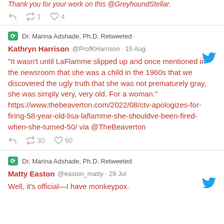Thank you for your work on this @GreyhoundStellar.
reply 1 retweet 4 likes
Dr. Marina Adshade, Ph.D. Retweeted
Kathryn Harrison @ProfKHarrison · 15 Aug
“It wasn’t until LaFlamme slipped up and once mentioned in the newsroom that she was a child in the 1960s that we discovered the ugly truth that she was not prematurely gray, she was simply very, very old. For a woman.” https://www.thebeaverton.com/2022/08/ctv-apologizes-for-firing-58-year-old-lisa-laflamme-she-shouldve-been-fired-when-she-turned-50/ via @TheBeaverton
reply 30 retweets 90 likes
Dr. Marina Adshade, Ph.D. Retweeted
Matty Easton @easton_matty · 29 Jul
Well, it’s official—I have monkeypox.